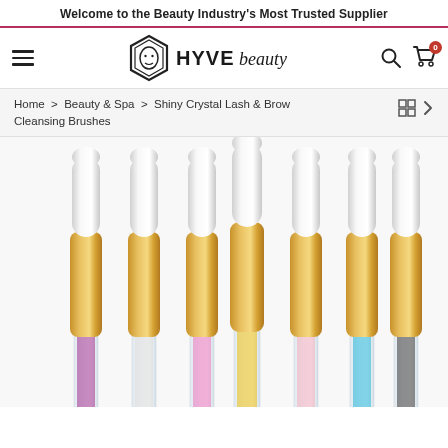Welcome to the Beauty Industry's Most Trusted Supplier
[Figure (logo): HYVE beauty logo with hexagonal face icon]
Home > Beauty & Spa > Shiny Crystal Lash & Brow Cleansing Brushes
[Figure (photo): Seven shiny crystal lash and brow cleansing brushes with white foam tips, gold metallic barrels, and transparent handles filled with colorful crystals in purple, white, pink, yellow, light pink, teal/blue, and black/gray colors]